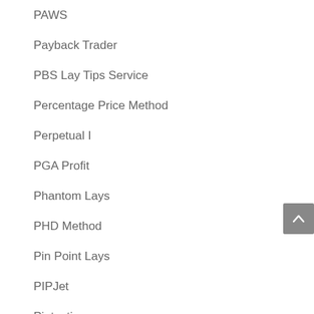PAWS
Payback Trader
PBS Lay Tips Service
Percentage Price Method
Perpetual I
PGA Profit
Phantom Lays
PHD Method
Pin Point Lays
PIPJet
Piptastic
Place Bet Pro
Place Bet Profits
Place Expert